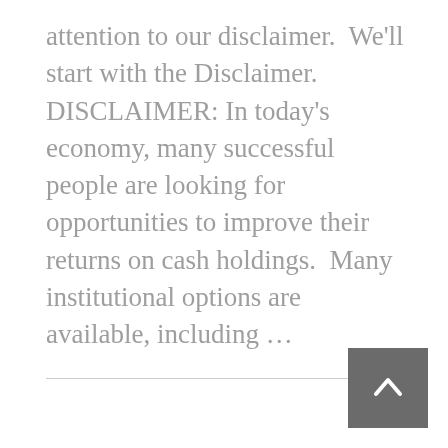attention to our disclaimer.  We'll start with the Disclaimer. DISCLAIMER: In today's economy, many successful people are looking for opportunities to improve their returns on cash holdings.  Many institutional options are available, including ...